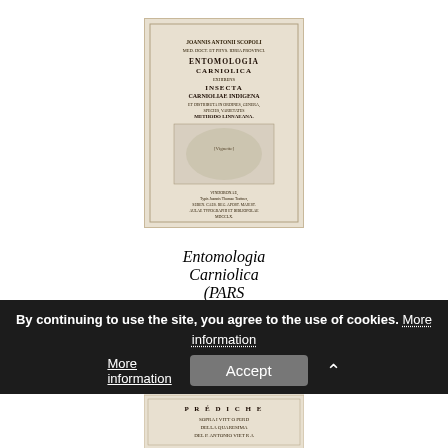[Figure (photo): Thumbnail image of the book cover for Entomologia Carniolica, showing the title page of the historic scientific work, printed text in Latin on aged paper with a small vignette illustration.]
Entomologia Carniolica (PARS PRIMA) by SCOPOLI, Antonio
€600.00
By continuing to use the site, you agree to the use of cookies. More information Accept
[Figure (photo): Partial thumbnail of another book at the bottom of the page, showing the top portion of its title page with text including PREDICHE.]